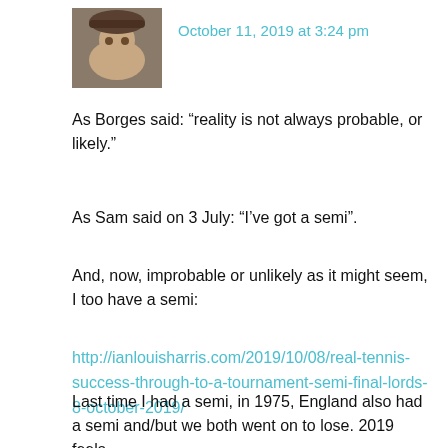[Figure (photo): Small avatar photo of a person wearing a hat]
October 11, 2019 at 3:24 pm
As Borges said: “reality is not always probable, or likely.”
As Sam said on 3 July: “I’ve got a semi”.
And, now, improbable or unlikely as it might seem, I too have a semi:
http://ianlouisharris.com/2019/10/08/real-tennis-success-through-to-a-tournament-semi-final-lords-8-october-2019/
Last time I had a semi, in 1975, England also had a semi and/but we both went on to lose. 2019 feels